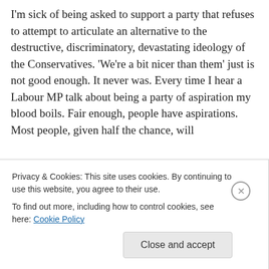I'm sick of being asked to support a party that refuses to attempt to articulate an alternative to the destructive, discriminatory, devastating ideology of the Conservatives. 'We're a bit nicer than them' just is not good enough. It never was. Every time I hear a Labour MP talk about being a party of aspiration my blood boils. Fair enough, people have aspirations. Most people, given half the chance, will
Privacy & Cookies: This site uses cookies. By continuing to use this website, you agree to their use. To find out more, including how to control cookies, see here: Cookie Policy